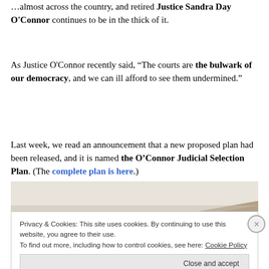…almost across the country, and retired Justice Sandra Day O'Connor continues to be in the thick of it.
As Justice O'Connor recently said, “The courts are the bulwark of our democracy, and we can ill afford to see them undermined.”
Last week, we read an announcement that a new proposed plan had been released, and it is named the O’Connor Judicial Selection Plan. (The complete plan is here.)
[Figure (illustration): Partial image visible at the bottom of the main content area, appears to show a tan/brown triangular shape, possibly part of a photo or graphic related to the article.]
Privacy & Cookies: This site uses cookies. By continuing to use this website, you agree to their use.
To find out more, including how to control cookies, see here: Cookie Policy